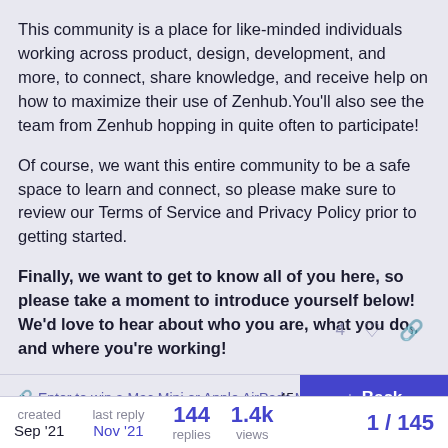This community is a place for like-minded individuals working across product, design, development, and more, to connect, share knowledge, and receive help on how to maximize their use of Zenhub.You'll also see the team from Zenhub hopping in quite often to participate!
Of course, we want this entire community to be a safe space to learn and connect, so please make sure to review our Terms of Service and Privacy Policy prior to getting started.
Finally, we want to get to know all of you here, so please take a moment to introduce yourself below! We'd love to hear about who you are, what you do, and where you're working!
4 ♡ 🔗
🔗 Enter to win a Mac Mini or Apple AirPods Ma… 45
↓ Back
created Sep '21    last reply Nov '21    144 replies    1.4k views    1 / 145